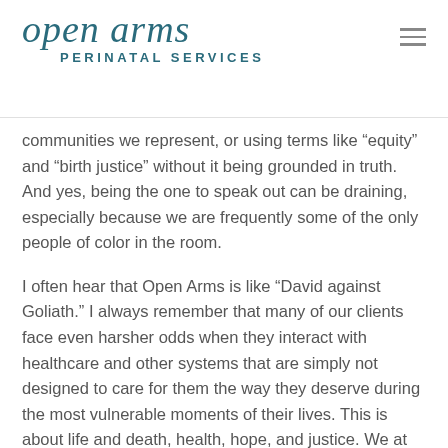[Figure (logo): Open Arms Perinatal Services logo with stylized script text 'open arms' in teal and subtitle 'PERINATAL SERVICES' in teal uppercase]
communities we represent, or using terms like “equity” and “birth justice” without it being grounded in truth. And yes, being the one to speak out can be draining, especially because we are frequently some of the only people of color in the room.
I often hear that Open Arms is like “David against Goliath.” I always remember that many of our clients face even harsher odds when they interact with healthcare and other systems that are simply not designed to care for them the way they deserve during the most vulnerable moments of their lives. This is about life and death, health, hope, and justice. We at Open Arms will always stand up to the “Goliaths” of this world on behalf of the families we serve. And when